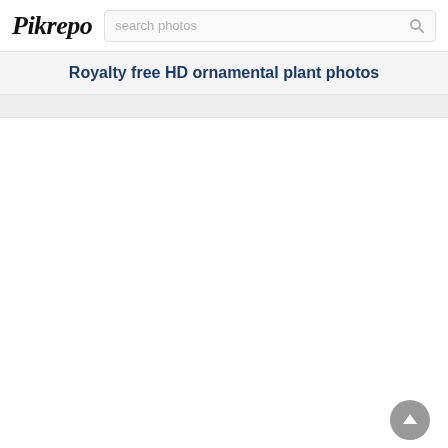Pikrepo
Royalty free HD ornamental plant photos
[Figure (screenshot): Pikrepo website screenshot showing logo, search bar, page title, and scroll-to-top button]